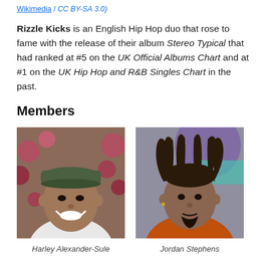Wikimedia / CC BY-SA 3.0)
Rizzle Kicks is an English Hip Hop duo that rose to fame with the release of their album Stereo Typical that had ranked at #5 on the UK Official Albums Chart and at #1 on the UK Hip Hop and R&B Singles Chart in the past.
Members
[Figure (photo): Photo of Harley Alexander-Sule, smiling, wearing a green cap, outdoors with flowers in background]
Harley Alexander-Sule
[Figure (photo): Photo of Jordan Stephens, with dreadlocks, wearing orange jacket, indoors with purple/teal background]
Jordan Stephens